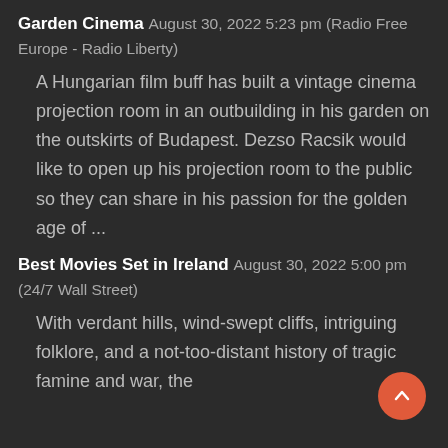Garden Cinema August 30, 2022 5:23 pm (Radio Free Europe - Radio Liberty)
A Hungarian film buff has built a vintage cinema projection room in an outbuilding in his garden on the outskirts of Budapest. Dezso Racsik would like to open up his projection room to the public so they can share in his passion for the golden age of ...
Best Movies Set in Ireland August 30, 2022 5:00 pm (24/7 Wall Street)
With verdant hills, wind-swept cliffs, intriguing folklore, and a not-too-distant history of tragic famine and war, the